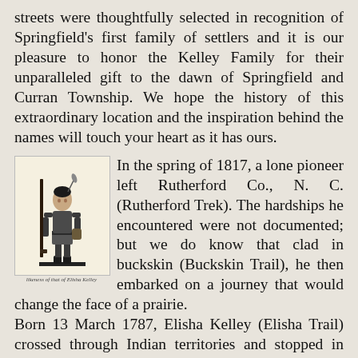streets were thoughtfully selected in recognition of Springfield's first family of settlers and it is our pleasure to honor the Kelley Family for their unparalleled gift to the dawn of Springfield and Curran Township. We hope the history of this extraordinary location and the inspiration behind the names will touch your heart as it has ours.
[Figure (illustration): Black and white illustration of a lone pioneer figure standing with a long rifle, wearing buckskin clothing. Caption below reads 'likeness of that of Elisha Kelley'.]
In the spring of 1817, a lone pioneer left Rutherford Co., N. C. (Rutherford Trek). The hardships he encountered were not documented; but we do know that clad in buckskin (Buckskin Trail), he then embarked on a journey that would change the face of a prairie. Born 13 March 1787, Elisha Kelley (Elisha Trail) crossed through Indian territories and stopped in αMacoupin County. At hand he found plentiful fresh water, brilliant black earth beneath his feet and a rich source of food through the sight of his long Kildeer rifle. As far as he